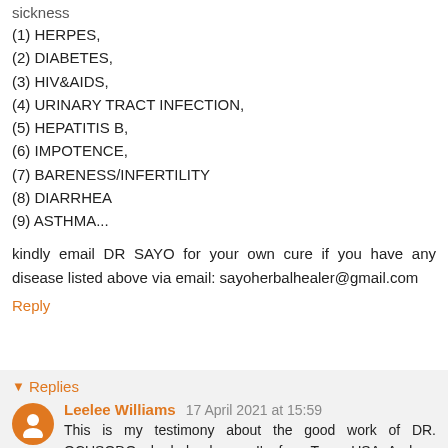sickness
(1) HERPES,
(2) DIABETES,
(3) HIV&AIDS,
(4) URINARY TRACT INFECTION,
(5) HEPATITIS B,
(6) IMPOTENCE,
(7) BARENESS/INFERTILITY
(8) DIARRHEA
(9) ASTHMA...
kindly email DR SAYO for your own cure if you have any disease listed above via email: sayoherbalhealer@gmail.com
Reply
Replies
Leelee Williams 17 April 2021 at 15:59
This is my testimony about the good work of DR. OCUSODO who helped me.... I'm from Texas USA. And am sorry for putting this on net but i